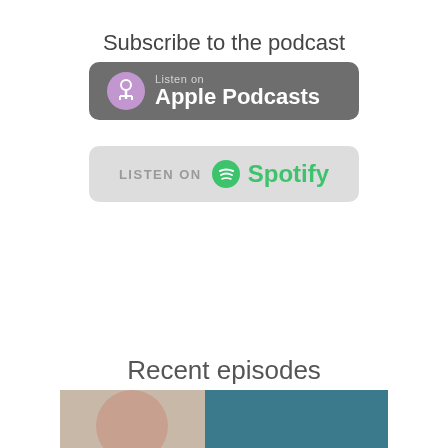Subscribe to the podcast
[Figure (logo): Listen on Apple Podcasts badge button with podcast microphone icon on dark grey background]
[Figure (logo): Listen on Spotify badge button with Spotify logo on light grey background]
Recent episodes
[Figure (photo): Partial thumbnail image showing a person on left side beige background and teal/blue background on right side]